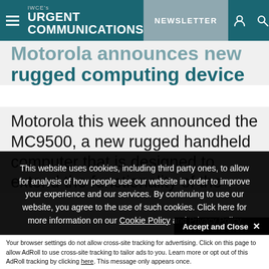IWCE's URGENT COMMUNICATIONS — NEWSLETTER
Motorola announces new rugged computing device
Motorola this week announced the MC9500, a new rugged handheld computer that is designed to extend the functionality of the
This website uses cookies, including third party ones, to allow for analysis of how people use our website in order to improve your experience and our services. By continuing to use our website, you agree to the use of such cookies. Click here for more information on our Cookie Policy and Privacy Policy
Accept and Close ✕
Your browser settings do not allow cross-site tracking for advertising. Click on this page to allow AdRoll to use cross-site tracking to tailor ads to you. Learn more or opt out of this AdRoll tracking by clicking here. This message only appears once.